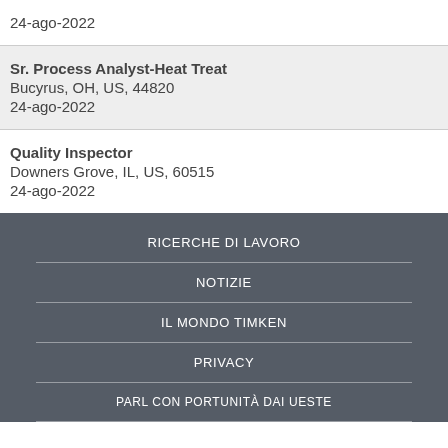Sr. Process Analyst-Heat Treat
Bucyrus, OH, US, 44820
24-ago-2022
Quality Inspector
Downers Grove, IL, US, 60515
24-ago-2022
RICERCHE DI LAVORO
NOTIZIE
IL MONDO TIMKEN
PRIVACY
PARL CON PORTUNITÀ DAI UESTE